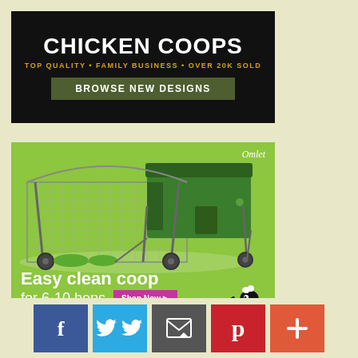[Figure (advertisement): Black background ad for Chicken Coops. Text: CHICKEN COOPS in large white bold, TOP QUALITY • FAMILY BUSINESS • OVER 20K SOLD in yellow, and a dark green button: BROWSE NEW DESIGNS]
[Figure (advertisement): Omlet brand advertisement on lime green background showing a chicken coop with wire run on wheels (Eglu Cube), text: 'Easy clean coop for 6-10 hens' with Shop Now button and Omlet logo, black cartoon chicken illustration]
[Figure (infographic): Social media sharing buttons row: Facebook (blue), Twitter (light blue), Email (dark gray), Pinterest (red), Plus/More (orange-red)]